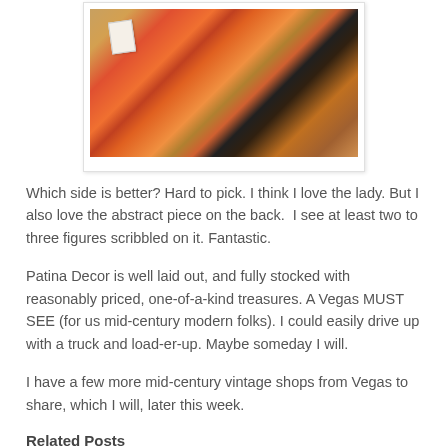[Figure (photo): A framed abstract painting with colorful figures, leaning against a wall with a price tag attached. Warm orange, red, and yellow tones dominate.]
Which side is better? Hard to pick. I think I love the lady. But I also love the abstract piece on the back.  I see at least two to three figures scribbled on it. Fantastic.
Patina Decor is well laid out, and fully stocked with reasonably priced, one-of-a-kind treasures. A Vegas MUST SEE (for us mid-century modern folks). I could easily drive up with a truck and load-er-up. Maybe someday I will.
I have a few more mid-century vintage shops from Vegas to share, which I will, later this week.
Related Posts